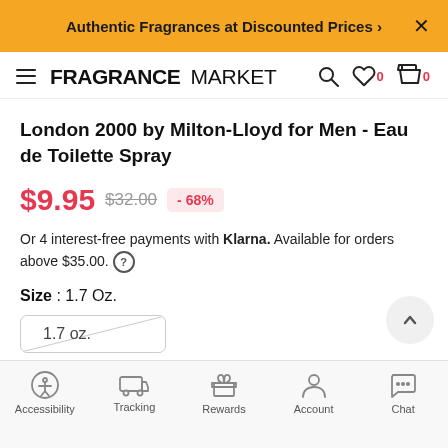Authentic Fragrances at Discounted Prices ›
[Figure (screenshot): FragranceMarket logo with hamburger menu, search icon, wishlist (0) and cart (0) icons]
London 2000 by Milton-Lloyd for Men - Eau de Toilette Spray
$9.95  $32.00  - 68%
Or 4 interest-free payments with Klarna. Available for orders above $35.00. ?
Size : 1.7 Oz.
[Figure (other): Size selector box showing 1.7 oz. with diagonal strikethrough line]
Accessibility  Tracking  Rewards  Account  Chat